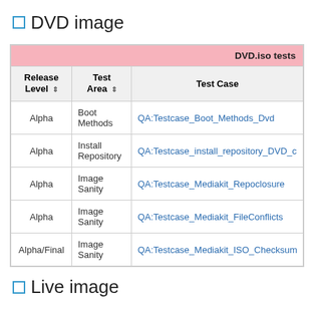DVD image
| Release Level | Test Area | Test Case |
| --- | --- | --- |
| Alpha | Boot Methods | QA:Testcase_Boot_Methods_Dvd |
| Alpha | Install Repository | QA:Testcase_install_repository_DVD_c… |
| Alpha | Image Sanity | QA:Testcase_Mediakit_Repoclosure |
| Alpha | Image Sanity | QA:Testcase_Mediakit_FileConflicts |
| Alpha/Final | Image Sanity | QA:Testcase_Mediakit_ISO_Checksum… |
Live image